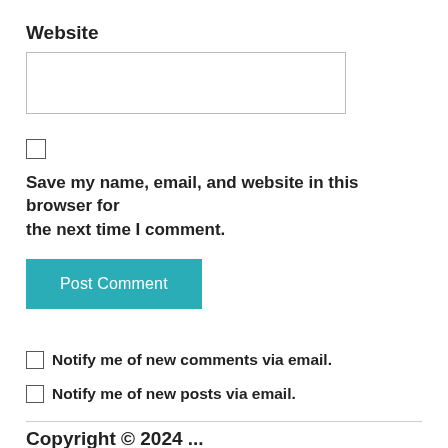Website
[Figure (other): Empty text input box for Website field]
[Figure (other): Unchecked checkbox]
Save my name, email, and website in this browser for the next time I comment.
[Figure (other): Post Comment button (teal/cyan background, white text)]
Notify me of new comments via email.
Notify me of new posts via email.
Copyright © 2024 ...